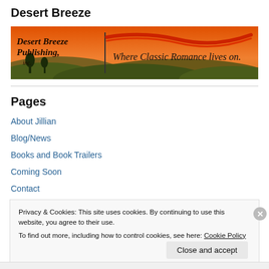Desert Breeze
[Figure (illustration): Desert Breeze Publishing banner with orange sunset background, silhouetted desert hills, a flag, and text 'Desert Breeze Publishing, inc.' on the left and 'Where Classic Romance lives on.' in italic on the right with a decorative red ribbon element.]
Pages
About Jillian
Blog/News
Books and Book Trailers
Coming Soon
Contact
Privacy & Cookies: This site uses cookies. By continuing to use this website, you agree to their use.
To find out more, including how to control cookies, see here: Cookie Policy